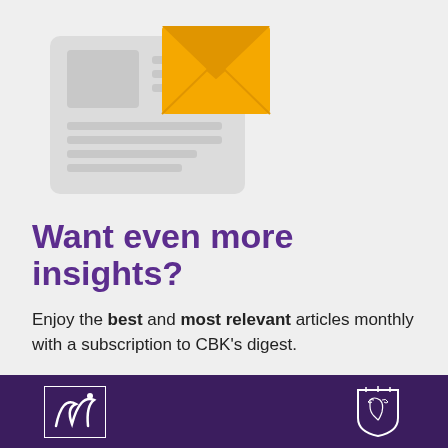[Figure (illustration): Newsletter/email icon: grey document with lines representing text, overlaid with a golden-yellow envelope icon]
Want even more insights?
Enjoy the best and most relevant articles monthly with a subscription to CBK's digest.
→ Subscribe
[Figure (logo): Two white logos on a dark purple footer bar: a stylized swoosh/flame logo on the left, and a heraldic crest/shield logo on the right]